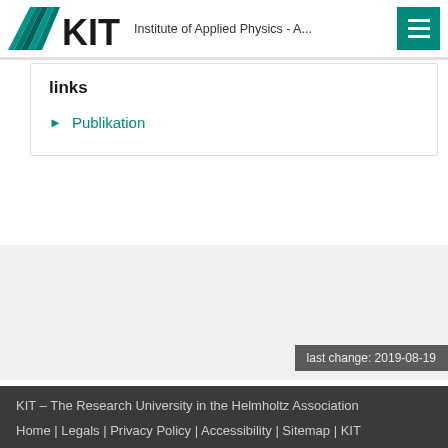Institute of Applied Physics - A...
links
Publikation
last change: 2019-08-19
KIT – The Research University in the Helmholtz Association
Home | Legals | Privacy Policy | Accessibility | Sitemap | KIT